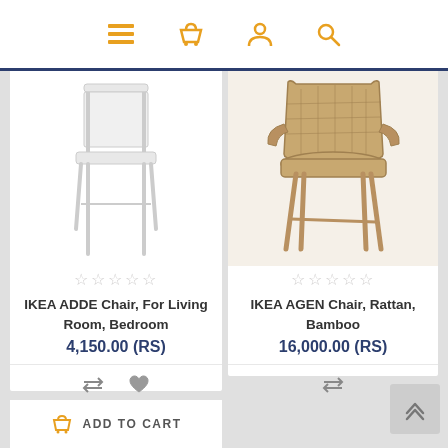[Figure (screenshot): Navigation bar with menu, basket, user, and search icons in orange]
[Figure (photo): IKEA ADDE white metal chair product image]
☆☆☆☆☆
IKEA ADDE Chair, For Living Room, Bedroom
4,150.00 (RS)
[Figure (photo): IKEA AGEN rattan bamboo chair product image]
☆☆☆☆☆
IKEA AGEN Chair, Rattan, Bamboo
16,000.00 (RS)
ADD TO CART